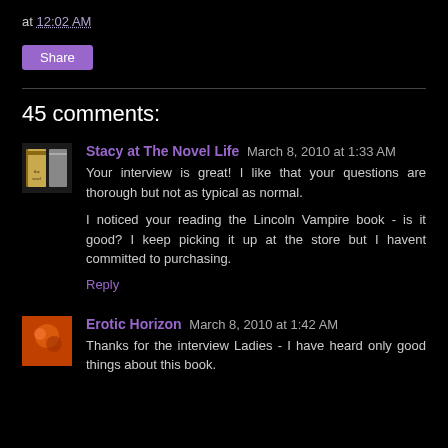at 12:02 AM
Share
45 comments:
Stacy at The Novel Life  March 8, 2010 at 1:33 AM
Your interview is great! I like that your questions are thorough but not as typical as normal.

I noticed your reading the Lincoln Vampire book - is it good? I keep picking it up at the store but I havent committed to purchasing.
Reply
Erotic Horizon  March 8, 2010 at 1:42 AM
Thanks for the interview Ladies - I have heard only good things about this book.